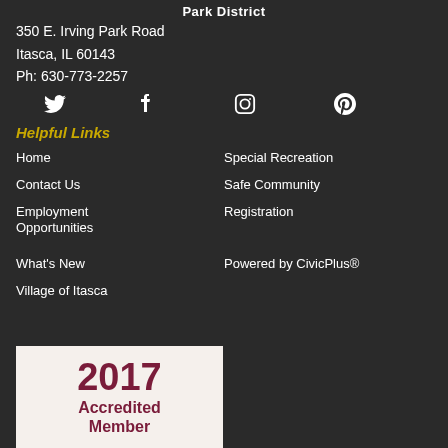Park District
350 E. Irving Park Road
Itasca, IL 60143
Ph: 630-773-2257
[Figure (illustration): Social media icons: Twitter bird, Facebook f, Instagram camera, Pinterest p]
Helpful Links
Home
Special Recreation
Contact Us
Safe Community
Employment Opportunities
Registration
What's New
Powered by CivicPlus®
Village of Itasca
[Figure (illustration): 2017 Accredited Member badge with dark red text on light background]